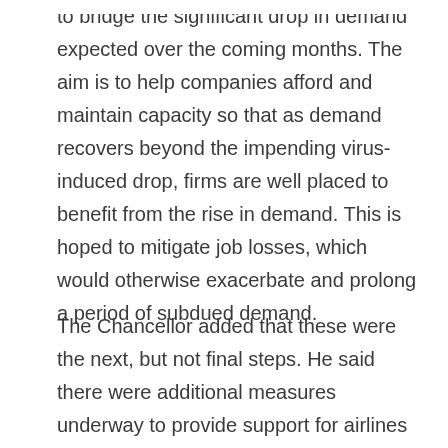to bridge the significant drop in demand expected over the coming months. The aim is to help companies afford and maintain capacity so that as demand recovers beyond the impending virus-induced drop, firms are well placed to benefit from the rise in demand. This is hoped to mitigate job losses, which would otherwise exacerbate and prolong a period of subdued demand.
The Chancellor added that these were the next, but not final steps. He said there were additional measures underway to provide support for airlines and airports and for other areas of the economy that may require support from access to funding, loans or regulatory forbearance. He also said that